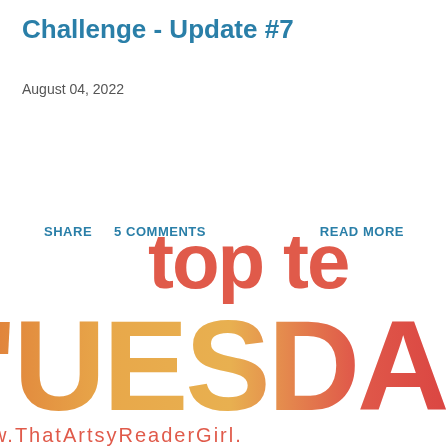Challenge - Update #7
August 04, 2022
SHARE    5 COMMENTS    READ MORE
[Figure (logo): Top Ten Tuesday logo with large colorful letters showing 'top te' above and 'TUESDAY' in gradient colors, with website URL 'w.ThatArtsyReaderGirl.' at bottom]